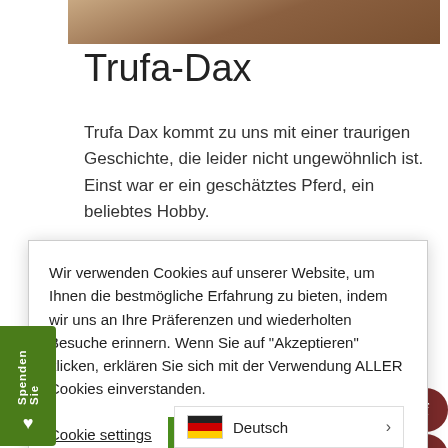[Figure (photo): Top banner photo of a horse in warm earth tones]
Trufa-Dax
Trufa Dax kommt zu uns mit einer traurigen Geschichte, die leider nicht ungewöhnlich ist. Einst war er ein geschätztes Pferd, ein beliebtes Hobby. [...]
Wir verwenden Cookies auf unserer Website, um Ihnen die bestmögliche Erfahrung zu bieten, indem wir uns an Ihre Präferenzen und wiederholten Besuche erinnern. Wenn Sie auf "Akzeptieren" klicken, erklären Sie sich mit der Verwendung ALLER Cookies einverstanden.
Cookie settings  ACCEPT
mehr lesen →
Spenden Sie
[Figure (photo): Close-up of horse in dark brown tones]
Deutsch  ›